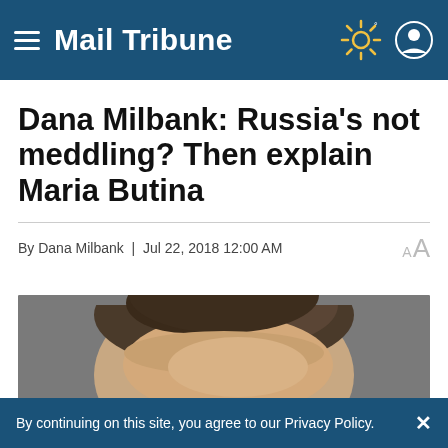Mail Tribune
Dana Milbank: Russia's not meddling? Then explain Maria Butina
By Dana Milbank  |  Jul 22, 2018 12:00 AM
[Figure (photo): Headshot photo of Dana Milbank, showing the top of his head and forehead against a gray background]
By continuing on this site, you agree to our Privacy Policy.